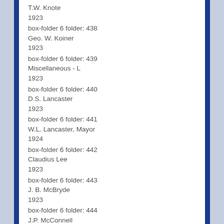T.W. Knote
1923
box-folder 6 folder: 438
Geo. W. Koiner
1923
box-folder 6 folder: 439
Miscellaneous - L
1923
box-folder 6 folder: 440
D.S. Lancaster
1923
box-folder 6 folder: 441
W.L. Lancaster, Mayor
1924
box-folder 6 folder: 442
Claudius Lee
1923
box-folder 6 folder: 443
J. B. McBryde
1923
box-folder 6 folder: 444
J.P. McConnell
1923
box-folder 6 folder: 445
E.C. Magill
1923
box-folder 6 folder: 446
Chas. G. Maphis
1923